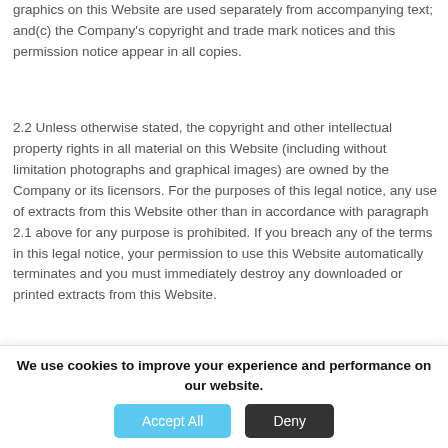graphics on this Website are used separately from accompanying text; and(c) the Company's copyright and trade mark notices and this permission notice appear in all copies.
2.2 Unless otherwise stated, the copyright and other intellectual property rights in all material on this Website (including without limitation photographs and graphical images) are owned by the Company or its licensors. For the purposes of this legal notice, any use of extracts from this Website other than in accordance with paragraph 2.1 above for any purpose is prohibited. If you breach any of the terms in this legal notice, your permission to use this Website automatically terminates and you must immediately destroy any downloaded or printed extracts from this Website.
We use cookies to improve your experience and performance on our website.